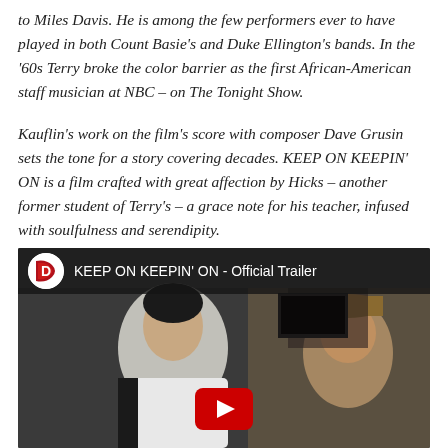to Miles Davis. He is among the few performers ever to have played in both Count Basie's and Duke Ellington's bands. In the '60s Terry broke the color barrier as the first African-American staff musician at NBC – on The Tonight Show.
Kauflin's work on the film's score with composer Dave Grusin sets the tone for a story covering decades. KEEP ON KEEPIN' ON is a film crafted with great affection by Hicks – another former student of Terry's – a grace note for his teacher, infused with soulfulness and serendipity.
[Figure (screenshot): YouTube video embed showing 'KEEP ON KEEPIN' ON - Official Trailer' with two people visible in the thumbnail and a YouTube play button at the bottom]